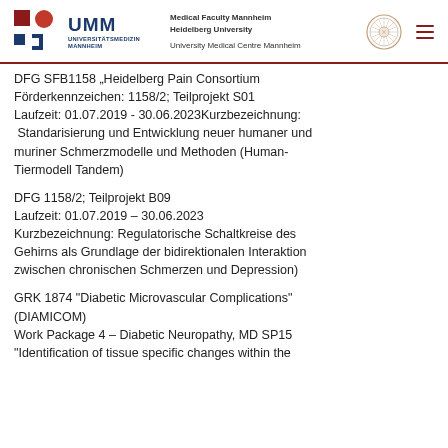UMM UNIVERSITÄTSMEDIZIN MANNHEIM | Medical Faculty Mannheim Heidelberg University | University Medical Centre Mannheim
DFG SFB1158 „Heidelberg Pain Consortium
Förderkennzeichen: 1158/2; Teilprojekt S01
Laufzeit: 01.07.2019 - 30.06.2023Kurzbezeichnung:
 Standarisierung und Entwicklung neuer humaner und muriner Schmerzmodelle und Methoden (Human-Tiermodell Tandem)
DFG 1158/2; Teilprojekt B09
Laufzeit: 01.07.2019 – 30.06.2023
Kurzbezeichnung: Regulatorische Schaltkreise des Gehirns als Grundlage der bidirektionalen Interaktion zwischen chronischen Schmerzen und Depression)
GRK 1874 "Diabetic Microvascular Complications" (DIAMICOM)
Work Package 4 – Diabetic Neuropathy, MD SP15
"Identification of tissue specific changes within the